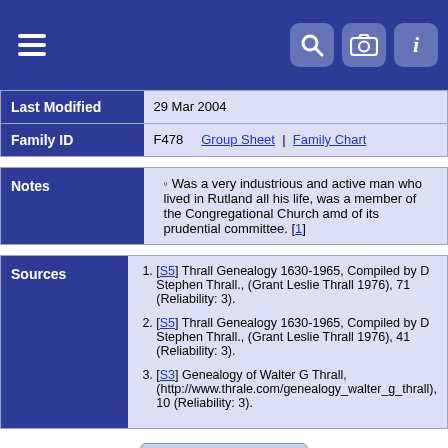Menu | Search | Camera | Info
| Field | Value |
| --- | --- |
| Last Modified | 29 Mar 2004 |
| Family ID | F478   Group Sheet | Family Chart |
| Notes | Content |
| --- | --- |
| Notes | Was a very industrious and active man who lived in Rutland all his life, was a member of the Congregational Church amd of its prudential committee. [1] |
| Sources | Content |
| --- | --- |
| Sources | 1. [S5] Thrall Genealogy 1630-1965, Compiled by D Stephen Thrall., (Grant Leslie Thrall 1976), 71 (Reliability: 3).
2. [S5] Thrall Genealogy 1630-1965, Compiled by D Stephen Thrall., (Grant Leslie Thrall 1976), 41 (Reliability: 3).
3. [S3] Genealogy of Walter G Thrall, (http://www.thrale.com/genealogy_walter_g_thrall), 10 (Reliability: 3). |
Switch to standard site